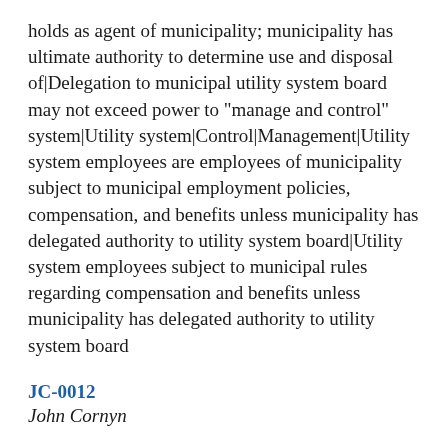holds as agent of municipality; municipality has ultimate authority to determine use and disposal of|Delegation to municipal utility system board may not exceed power to "manage and control" system|Utility system|Control|Management|Utility system employees are employees of municipality subject to municipal employment policies, compensation, and benefits unless municipality has delegated authority to utility system board|Utility system employees subject to municipal rules regarding compensation and benefits unless municipality has delegated authority to utility system board
JC-0012
John Cornyn